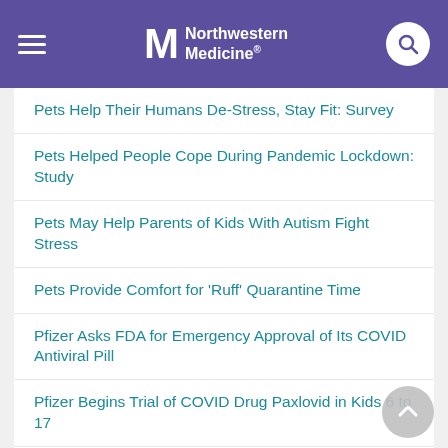Northwestern Medicine
Pets Help Their Humans De-Stress, Stay Fit: Survey
Pets Helped People Cope During Pandemic Lockdown: Study
Pets May Help Parents of Kids With Autism Fight Stress
Pets Provide Comfort for 'Ruff' Quarantine Time
Pfizer Asks FDA for Emergency Approval of Its COVID Antiviral Pill
Pfizer Begins Trial of COVID Drug Paxlovid in Kids 6 to 17
Pfizer COVID Pill to Be Made, Sold Cheaply in 95 Poor Countries
Pfizer COVID Shots: FDA Recommends High…